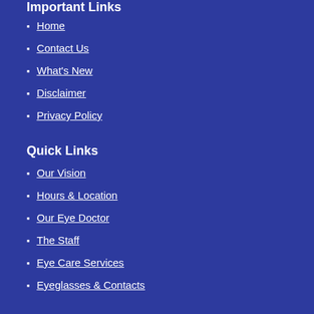Important Links
Home
Contact Us
What's New
Disclaimer
Privacy Policy
Quick Links
Our Vision
Hours & Location
Our Eye Doctor
The Staff
Eye Care Services
Eyeglasses & Contacts